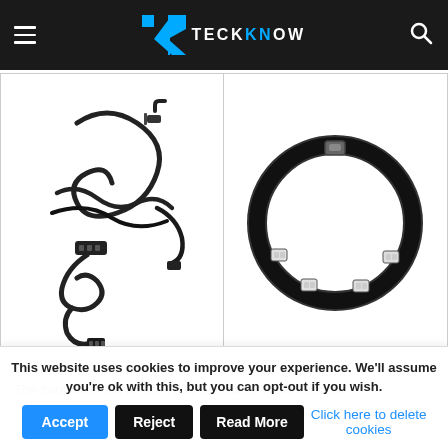TECKKNOW
[Figure (photo): Two product photos side by side: left shows black cables/wires bundle for an RGB controller; right shows a black LED RGB strip light band with LEDs visible.]
The controller unit for the RGB controller, RGB Chroma
This website uses cookies to improve your experience. We'll assume you're ok with this, but you can opt-out if you wish. Accept | Reject | Read More | Click here to delete cookies